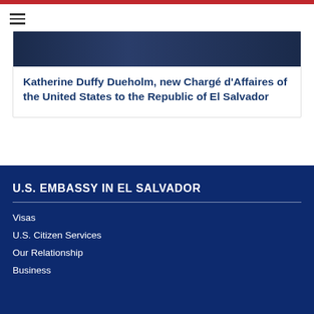[Figure (photo): Header image of U.S. Embassy dark blue background]
Katherine Duffy Dueholm, new Chargé d'Affaires of the United States to the Republic of El Salvador
U.S. EMBASSY IN EL SALVADOR
Visas
U.S. Citizen Services
Our Relationship
Business